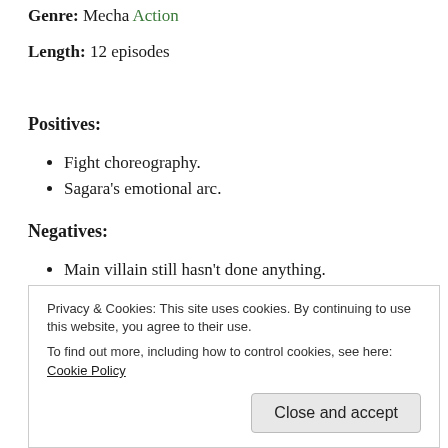Genre: Mecha Action
Length: 12 episodes
Positives:
Fight choreography.
Sagara's emotional arc.
Negatives:
Main villain still hasn't done anything.
Privacy & Cookies: This site uses cookies. By continuing to use this website, you agree to their use. To find out more, including how to control cookies, see here: Cookie Policy
Close and accept